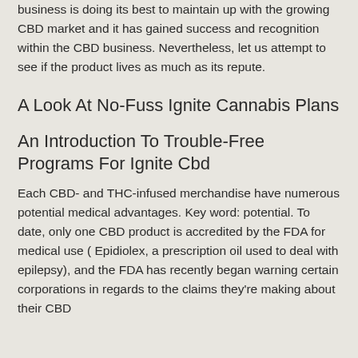business is doing its best to maintain up with the growing CBD market and it has gained success and recognition within the CBD business. Nevertheless, let us attempt to see if the product lives as much as its repute.
A Look At No-Fuss Ignite Cannabis Plans
An Introduction To Trouble-Free Programs For Ignite Cbd
Each CBD- and THC-infused merchandise have numerous potential medical advantages. Key word: potential. To date, only one CBD product is accredited by the FDA for medical use ( Epidiolex, a prescription oil used to deal with epilepsy), and the FDA has recently began warning certain corporations in regards to the claims they're making about their CBD